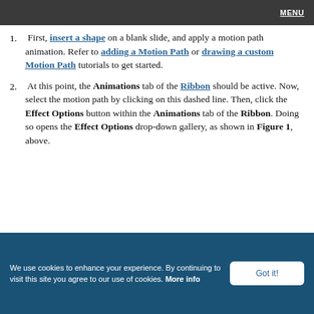MENU
1. First, insert a shape on a blank slide, and apply a motion path animation. Refer to adding a Motion Path or drawing a custom Motion Path tutorials to get started.
2. At this point, the Animations tab of the Ribbon should be active. Now, select the motion path by clicking on this dashed line. Then, click the Effect Options button within the Animations tab of the Ribbon. Doing so opens the Effect Options drop-down gallery, as shown in Figure 1, above.
We use cookies to enhance your experience. By continuing to visit this site you agree to our use of cookies. More info